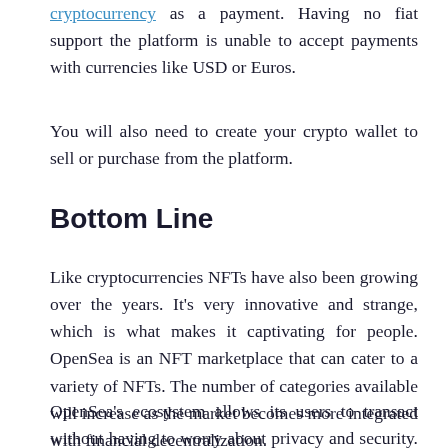cryptocurrency as a payment. Having no fiat support the platform is unable to accept payments with currencies like USD or Euros.
You will also need to create your crypto wallet to sell or purchase from the platform.
Bottom Line
Like cryptocurrencies NFTs have also been growing over the years. It's very innovative and strange, which is what makes it captivating for people. OpenSea is an NFT marketplace that can cater to a variety of NFTs. The number of categories available will increase as the market becomes more integrated with financial decentralization.
OpenSea's ecosystem allows its users to transact without having to worry about privacy and security. Additionally, it doesn't charge users high fees. A 2.5 percent cost on your sales